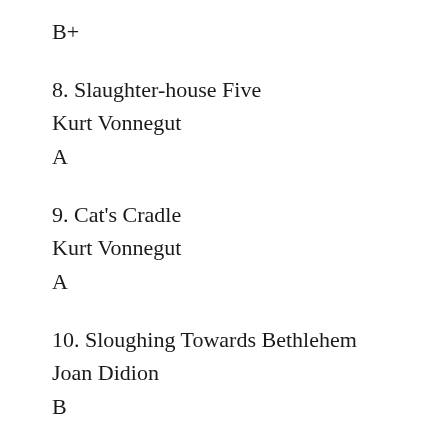B+
8. Slaughter-house Five
Kurt Vonnegut
A
9. Cat's Cradle
Kurt Vonnegut
A
10. Sloughing Towards Bethlehem
Joan Didion
B
11. Call Me By Your Name